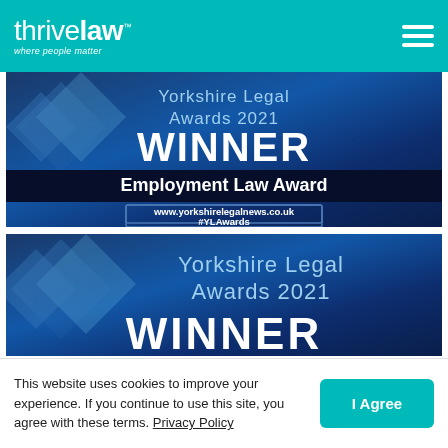thrive law™ — where people matter
[Figure (photo): Yorkshire Legal Awards 2021 WINNER Employment Law Award banner with dark blue background and diamond logo. Website: www.yorkshirelegalnews.co.uk #YLAwards]
[Figure (photo): Yorkshire Legal Awards 2021 WINNER banner (partially visible, second instance) with dark blue background and diamond logo]
This website uses cookies to improve your experience. If you continue to use this site, you agree with these terms. Privacy Policy